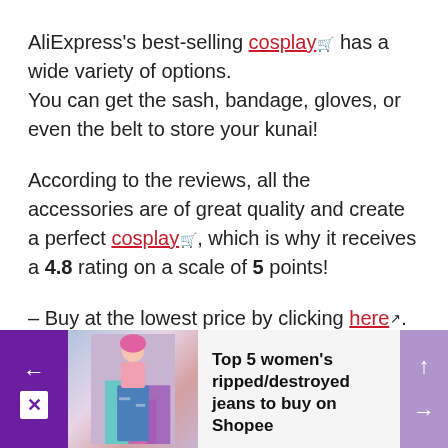AliExpress's best-selling cosplay 🛒 has a wide variety of options. You can get the sash, bandage, gloves, or even the belt to store your kunai!
According to the reviews, all the accessories are of great quality and create a perfect cosplay 🛒, which is why it receives a 4.8 rating on a scale of 5 points!
– Buy at the lowest price by clicking here 🔗.
[Figure (infographic): Bottom ad banner showing a woman in ripped jeans with purple navigation buttons and text 'Top 5 women's ripped/destroyed jeans to buy on Shopee']